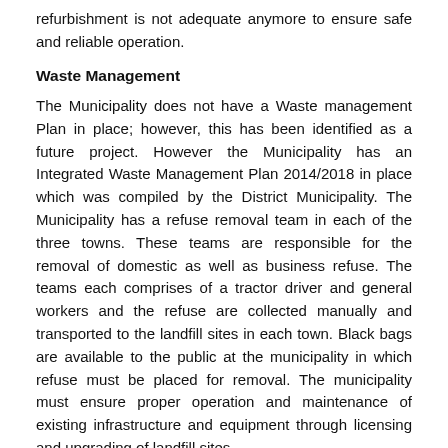refurbishment is not adequate anymore to ensure safe and reliable operation.
Waste Management
The Municipality does not have a Waste management Plan in place; however, this has been identified as a future project. However the Municipality has an Integrated Waste Management Plan 2014/2018 in place which was compiled by the District Municipality. The Municipality has a refuse removal team in each of the three towns. These teams are responsible for the removal of domestic as well as business refuse. The teams each comprises of a tractor driver and general workers and the refuse are collected manually and transported to the landfill sites in each town. Black bags are available to the public at the municipality in which refuse must be placed for removal. The municipality must ensure proper operation and maintenance of existing infrastructure and equipment through licensing and upgrading of landfill sites.
Waste water Storm water Drainage
Storm water drainage forms an integral part of road infrastructure. Despite the fact that the need for storm water